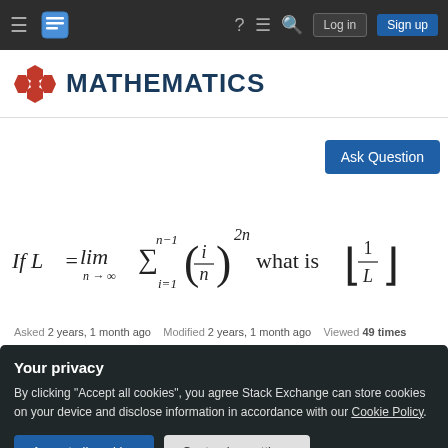Mathematics Stack Exchange navigation bar with hamburger menu, logo, help, chat, search, Log in, Sign up
MATHEMATICS
Ask Question
Asked 2 years, 1 month ago   Modified 2 years, 1 month ago   Viewed 49 times
Your privacy
By clicking "Accept all cookies", you agree Stack Exchange can store cookies on your device and disclose information in accordance with our Cookie Policy.
Accept all cookies   Customize settings